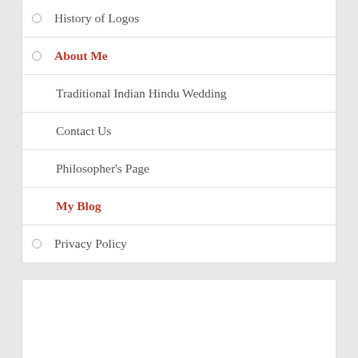History of Logos
About Me
Traditional Indian Hindu Wedding
Contact Us
Philosopher's Page
My Blog
Privacy Policy
MOST POPULAR ARTICLES